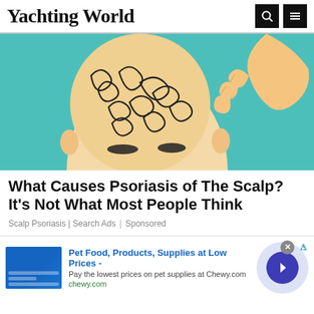Yachting World
[Figure (illustration): Stylized illustration of a bald person scratching their scalp, with swirling black patterns on the scalp representing psoriasis, on a teal background]
What Causes Psoriasis of The Scalp? It's Not What Most People Think
Scalp Psoriasis | Search Ads | Sponsored
[Figure (infographic): Advertisement banner for Chewy.com: Pet Food, Products, Supplies at Low Prices - Pay the lowest prices on pet supplies at Chewy.com. Contains Chewy product image on left and a navigation arrow button on right.]